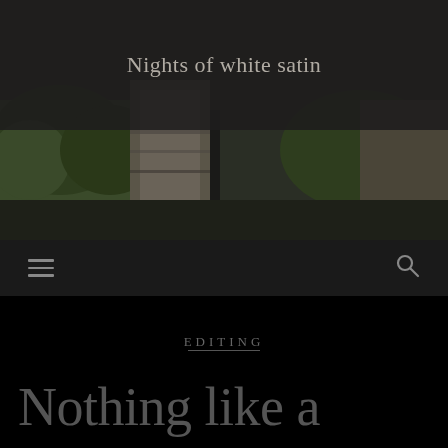[Figure (photo): Hero banner image showing a landscape with green trees, rocky cliffs and stone structures, partially obscured by a dark overlay at the top. The overlay contains the site title 'Nights of white satin'.]
Nights of white satin
[Figure (infographic): Dark navigation bar with a hamburger menu icon on the left and a search (magnifying glass) icon on the right.]
EDITING
Nothing like a